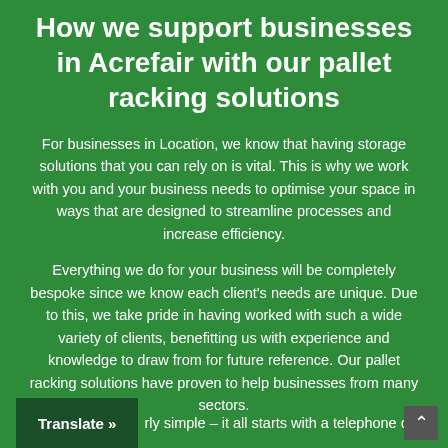How we support businesses in Acrefair with our pallet racking solutions
For businesses in Location, we know that having storage solutions that you can rely on is vital. This is why we work with you and your business needs to optimise your space in ways that are designed to streamline processes and increase efficiency.
Everything we do for your business will be completely bespoke since we know each client's needs are unique. Due to this, we take pride in having worked with such a wide variety of clients, benefitting us with experience and knowledge to draw from for future reference. Our pallet racking solutions have proven to help businesses from many sectors.
rly simple – it all starts with a telephone call.